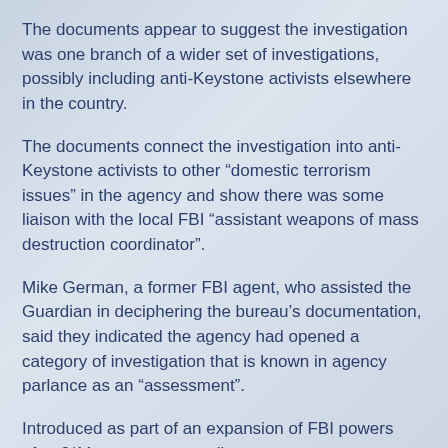The documents appear to suggest the investigation was one branch of a wider set of investigations, possibly including anti-Keystone activists elsewhere in the country.
The documents connect the investigation into anti-Keystone activists to other “domestic terrorism issues” in the agency and show there was some liaison with the local FBI “assistant weapons of mass destruction coordinator”.
Mike German, a former FBI agent, who assisted the Guardian in deciphering the bureau’s documentation, said they indicated the agency had opened a category of investigation that is known in agency parlance as an “assessment”.
Introduced as part of an expansion of FBI powers after 9/11, assessments allow agents to open intrusive investigations into individuals or groups, even if they have no reason to believe they are breaking the law.
German, now a fellow at the Brennan Center for Justice in New York, said the documents also raised questions over collusion between law enforcement and TransCanada.
“It is clearly troubling that these documents suggest the FBI